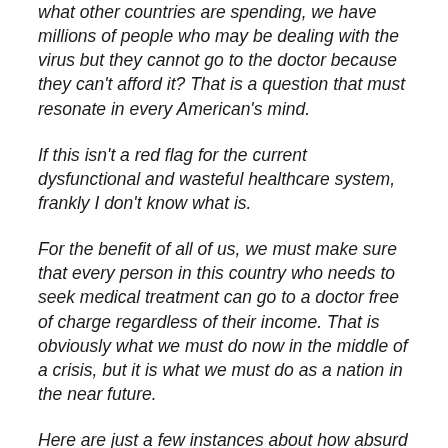what other countries are spending, we have millions of people who may be dealing with the virus but they cannot go to the doctor because they can't afford it? That is a question that must resonate in every American's mind.
If this isn't a red flag for the current dysfunctional and wasteful healthcare system, frankly I don't know what is.
For the benefit of all of us, we must make sure that every person in this country who needs to seek medical treatment can go to a doctor free of charge regardless of their income. That is obviously what we must do now in the middle of a crisis, but it is what we must do as a nation in the near future.
Here are just a few instances about how absurd and dysfunctional our current healthcare system is.